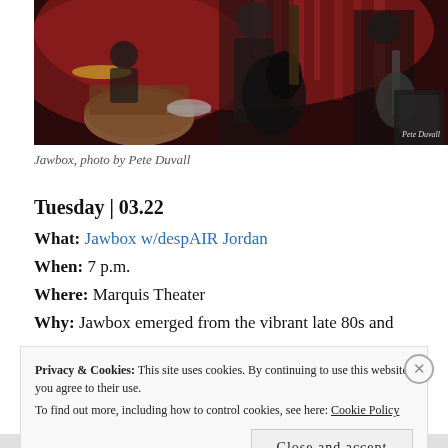[Figure (photo): Concert photo of Jawbox band performing on stage with red lighting, showing guitarists and drummer with drum kit]
Jawbox, photo by Pete Duvall
Tuesday | 03.22
What: Jawbox w/despAIR Jordan
When: 7 p.m.
Where: Marquis Theater
Why: Jawbox emerged from the vibrant late 80s and
Privacy & Cookies: This site uses cookies. By continuing to use this website, you agree to their use.
To find out more, including how to control cookies, see here: Cookie Policy
Close and accept